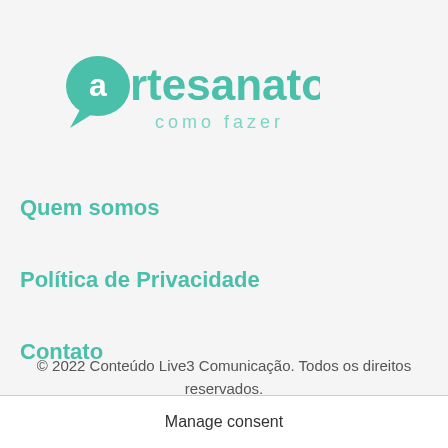[Figure (logo): artesanatos como fazer logo in teal/green color with speech bubble icon]
Quem somos
Política de Privacidade
Contato
© 2022 Conteúdo Live3 Comunicação. Todos os direitos reservados.
Manage consent